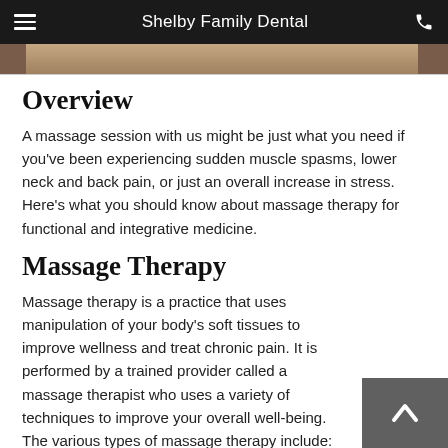Shelby Family Dental
[Figure (photo): Partial cropped photo of a person receiving massage or dental treatment, shown at the top of the content area]
Overview
A massage session with us might be just what you need if you've been experiencing sudden muscle spasms, lower neck and back pain, or just an overall increase in stress. Here's what you should know about massage therapy for functional and integrative medicine.
Massage Therapy
Massage therapy is a practice that uses manipulation of your body's soft tissues to improve wellness and treat chronic pain. It is performed by a trained provider called a massage therapist who uses a variety of techniques to improve your overall well-being. The various types of massage therapy include: